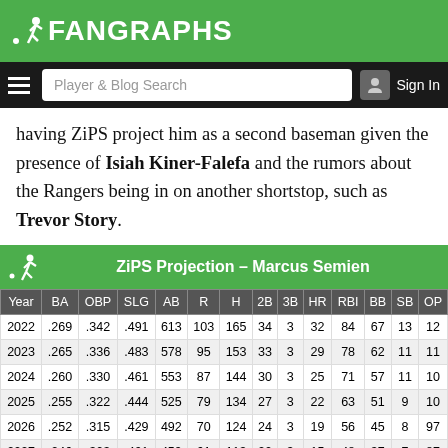FanGraphs
having ZiPS project him as a second baseman given the presence of Isiah Kiner-Falefa and the rumors about the Rangers being in on another shortstop, such as Trevor Story.
| Year | BA | OBP | SLG | AB | R | H | 2B | 3B | HR | RBI | BB | SB | OP |
| --- | --- | --- | --- | --- | --- | --- | --- | --- | --- | --- | --- | --- | --- |
| 2022 | .269 | .342 | .491 | 613 | 103 | 165 | 34 | 3 | 32 | 84 | 67 | 13 | 12 |
| 2023 | .265 | .336 | .483 | 578 | 95 | 153 | 33 | 3 | 29 | 78 | 62 | 11 | 11 |
| 2024 | .260 | .330 | .461 | 553 | 87 | 144 | 30 | 3 | 25 | 71 | 57 | 11 | 10 |
| 2025 | .255 | .322 | .444 | 525 | 79 | 134 | 27 | 3 | 22 | 63 | 51 | 9 | 10 |
| 2026 | .252 | .315 | .429 | 492 | 70 | 124 | 24 | 3 | 19 | 56 | 45 | 8 | 97 |
| 2027 | .246 | .303 | .401 | 459 | 61 | 113 | 20 | 3 | 15 | 48 | 37 | 7 | 87 |